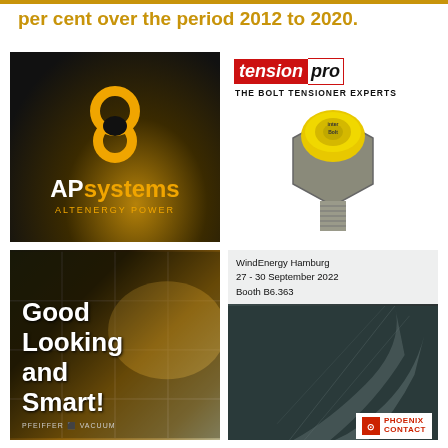per cent over the period 2012 to 2020.
[Figure (logo): APsystems ALTENERGY POWER logo on dark background with orange circuit/globe pattern]
[Figure (photo): tensionpro THE BOLT TENSIONER EXPERTS logo with photo of yellow/grey bolt tensioner device (interbolt)]
[Figure (photo): Good Looking and Smart! solar panel advertisement with Pfeiffer Vacuum branding]
[Figure (photo): WindEnergy Hamburg 27-30 September 2022 Booth B6.363 Phoenix Contact advertisement with wind turbine image]